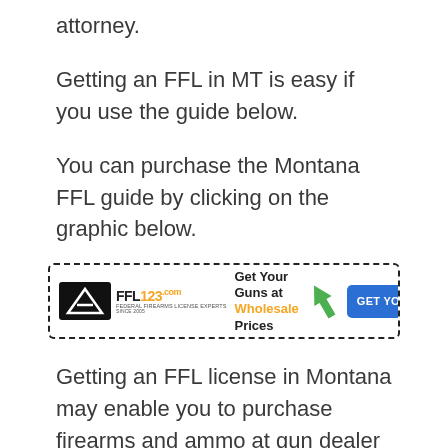attorney.
Getting an FFL in MT is easy if you use the guide below.
You can purchase the Montana FFL guide by clicking on the graphic below.
[Figure (infographic): FFL123.com advertisement banner with logo, text 'Get Your Guns at Wholesale Prices' with green arrow, and blue 'GET YOUR FFL NOW!' button]
Getting an FFL license in Montana may enable you to purchase firearms and ammo at gun dealer prices. This may enable you to start a great new business or hobby. Contact any of our Montana Federal